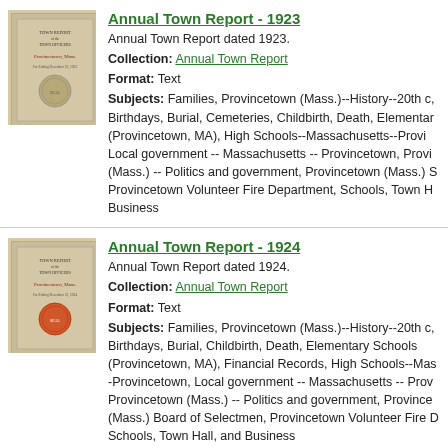[Figure (photo): Thumbnail of Annual Town Report 1923 booklet cover, brown/tan colored]
Annual Town Report - 1923
Annual Town Report dated 1923.
Collection: Annual Town Report
Format: Text
Subjects: Families, Provincetown (Mass.)--History--20th c., Birthdays, Burial, Cemeteries, Childbirth, Death, Elementary Schools (Provincetown, MA), High Schools--Massachusetts--Provincetown, Local government -- Massachusetts -- Provincetown, Provincetown (Mass.) -- Politics and government, Provincetown (Mass.) S..., Provincetown Volunteer Fire Department, Schools, Town H..., Business
[Figure (photo): Thumbnail of Annual Town Report 1924 booklet cover, brown/tan colored with red circular seal]
Annual Town Report - 1924
Annual Town Report dated 1924.
Collection: Annual Town Report
Format: Text
Subjects: Families, Provincetown (Mass.)--History--20th c., Birthdays, Burial, Childbirth, Death, Elementary Schools (Provincetown, MA), Financial Records, High Schools--Massachusetts--Provincetown, Local government -- Massachusetts -- Provincetown, Provincetown (Mass.) -- Politics and government, Provincetown (Mass.) Board of Selectmen, Provincetown Volunteer Fire Department, Schools, Town Hall, and Business
Prev 1 2 3 4 5 6 7 8 9 ... 19 20 Next   Images: [checked] Items per page
SITE MAP | SUBSCRIBE TO RSS
COPYRIGHT © 2007–2022 TOWN OF PROVINCETOWN